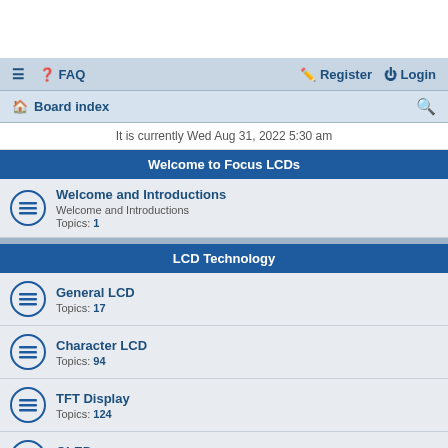FAQ | Register | Login | Board index
It is currently Wed Aug 31, 2022 5:30 am
Welcome to Focus LCDs
Welcome and Introductions
Welcome and Introductions
Topics: 1
LCD Technology
General LCD
Topics: 17
Character LCD
Topics: 94
TFT Display
Topics: 124
OLED
Topics: 13
Graphic LCD
Topics: 34